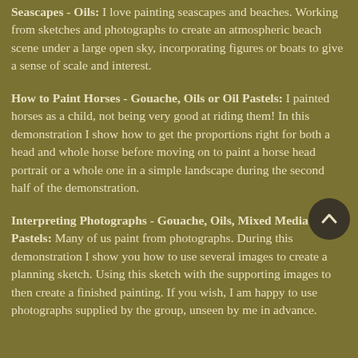Seascapes - Oils: I love painting seascapes and beaches. Working from sketches and photographs to create an atmospheric beach scene under a large open sky, incorporating figures or boats to give a sense of scale and interest.
How to Paint Horses - Gouache, Oils or Oil Pastels: I painted horses as a child, not being very good at riding them! In this demonstration I show how to get the proportions right for both a head and whole horse before moving on to paint a horse head portrait or a whole one in a simple landscape during the second half of the demonstration.
Interpreting Photographs - Gouache, Oils, Mixed Media or Oil Pastels: Many of us paint from photographs. During this demonstration I show you how to use several images to create a planning sketch. Using this sketch with the supporting images to then create a finished painting. If you wish, I am happy to use photographs supplied by the group, unseen by me in advance.